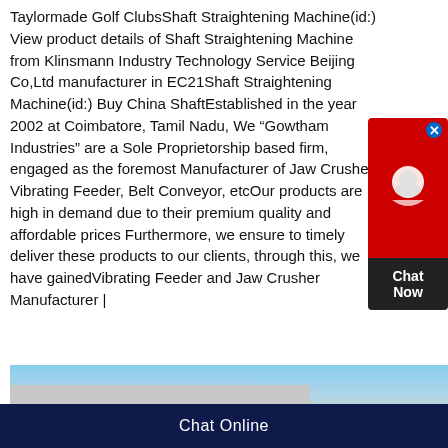Taylormade Golf ClubsShaft Straightening Machine(id:) View product details of Shaft Straightening Machine from Klinsmann Industry Technology Service Beijing Co,Ltd manufacturer in EC21Shaft Straightening Machine(id:) Buy China ShaftEstablished in the year 2002 at Coimbatore, Tamil Nadu, We “Gowtham Industries” are a Sole Proprietorship based firm, engaged as the foremost Manufacturer of Jaw Crusher, Vibrating Feeder, Belt Conveyor, etcOur products are high in demand due to their premium quality and affordable prices Furthermore, we ensure to timely deliver these products to our clients, through this, we have gainedVibrating Feeder and Jaw Crusher Manufacturer |
[Figure (photo): Photo of a building with blue sky and trees in the background]
Chat Online